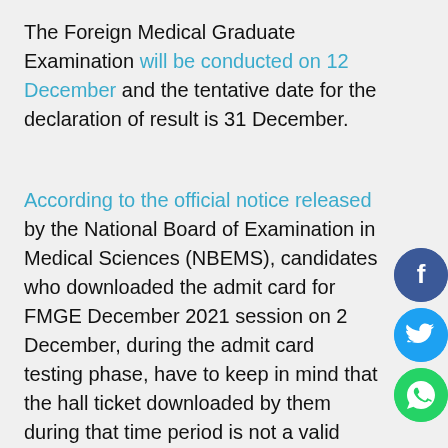The Foreign Medical Graduate Examination will be conducted on 12 December and the tentative date for the declaration of result is 31 December.
According to the official notice released by the National Board of Examination in Medical Sciences (NBEMS), candidates who downloaded the admit card for FMGE December 2021 session on 2 December, during the admit card testing phase, have to keep in mind that the hall ticket downloaded by them during that time period is not a valid document.
Applicants will not be allowed to appear in the
[Figure (illustration): Social media share buttons: Facebook (blue circle with 'f'), Twitter (blue circle with bird icon), WhatsApp (green circle with phone icon)]